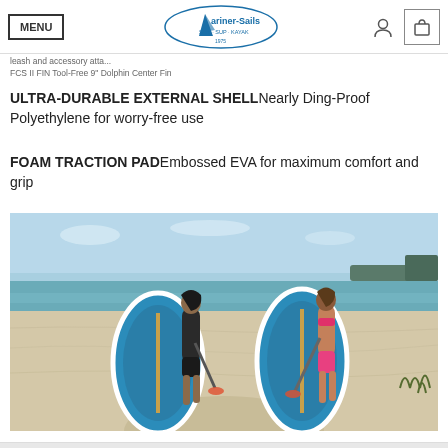MENU | Mariner-Sails logo | user icon | cart icon
leash and accessory atta... FCS II FIN Tool-Free 9" Dolphin Center Fin
ULTRA-DURABLE EXTERNAL SHELLNearly Ding-Proof Polyethylene for worry-free use
FOAM TRACTION PADEmbossed EVA for maximum comfort and grip
[Figure (photo): Two women on a sandy beach carrying teal/white stand-up paddleboards with paddles, walking away from the camera toward the ocean. Sunny day with blue sky and calm water in the background.]